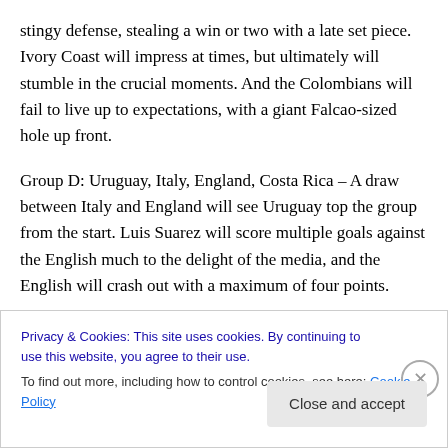stingy defense, stealing a win or two with a late set piece. Ivory Coast will impress at times, but ultimately will stumble in the crucial moments. And the Colombians will fail to live up to expectations, with a giant Falcao-sized hole up front.

Group D: Uruguay, Italy, England, Costa Rica – A draw between Italy and England will see Uruguay top the group from the start. Luis Suarez will score multiple goals against the English much to the delight of the media, and the English will crash out with a maximum of four points.
Privacy & Cookies: This site uses cookies. By continuing to use this website, you agree to their use.
To find out more, including how to control cookies, see here: Cookie Policy